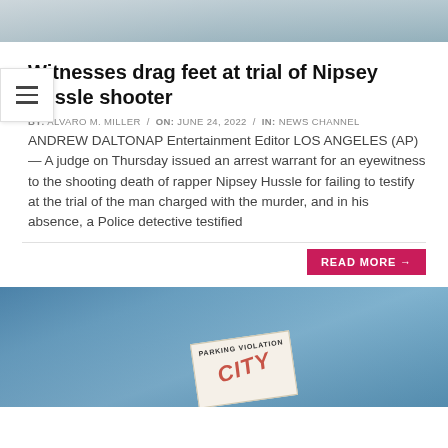[Figure (photo): Blurred photo at top of page, appears to show a person]
Witnesses drag feet at trial of Nipsey Hussle shooter
BY: ALVARO M. MILLER / ON: JUNE 24, 2022 / IN: NEWS CHANNEL
ANDREW DALTONAP Entertainment Editor LOS ANGELES (AP) — A judge on Thursday issued an arrest warrant for an eyewitness to the shooting death of rapper Nipsey Hussle for failing to testify at the trial of the man charged with the murder, and in his absence, a Police detective testified
READ MORE →
[Figure (photo): Blue-toned photo showing a parking violation ticket on a car windshield, with red CITY stamp visible]